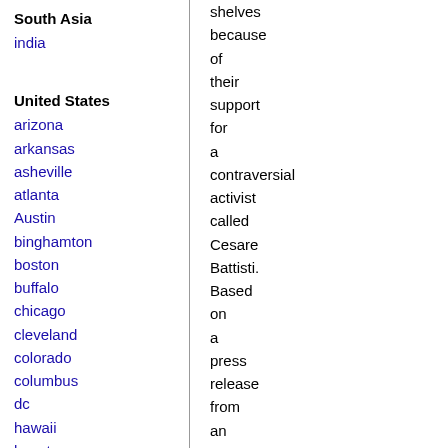South Asia
india
United States
arizona
arkansas
asheville
atlanta
Austin
binghamton
boston
buffalo
chicago
cleveland
colorado
columbus
dc
hawaii
houston
hudson mohawk
kansas city
la
madison
maine
miami
shelves because of their support for a contraversial activist called Cesare Battisti. Based on a press release from an Italian group campaigning against what is happening, who